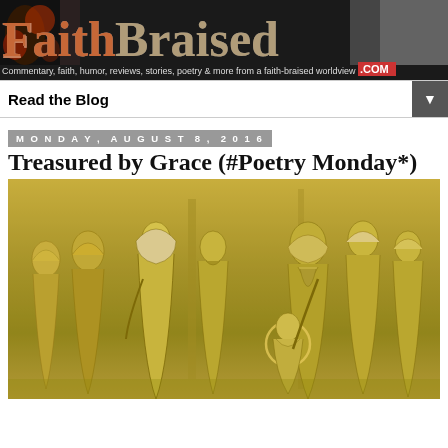[Figure (logo): FaithBraised.com website banner logo with stylized text on dark background with fire/ember texture, subtitle reads 'Commentary, faith, humor, reviews, stories, poetry & more from a faith-braised worldview .COM']
Read the Blog
Monday, August 8, 2016
Treasured by Grace (#Poetry Monday*)
[Figure (illustration): Sepia-toned classical engraving or relief illustration showing robed biblical figures, multiple people in ancient Middle Eastern dress gathered together, with halos visible on some figures, golden-brown monochromatic color scheme]